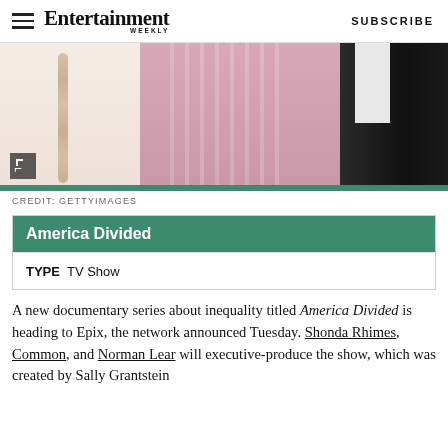Entertainment Weekly — SUBSCRIBE
[Figure (photo): Cropped photo showing three people, one in a pink top with a pearl necklace, one in a pink shirt, one in a black tuxedo jacket — partial torsos only]
CREDIT: GETTYIMAGES
America Divided
TYPE  TV Show
A new documentary series about inequality titled America Divided is heading to Epix, the network announced Tuesday. Shonda Rhimes, Common, and Norman Lear will executive-produce the show, which was created by Sally Grantstein